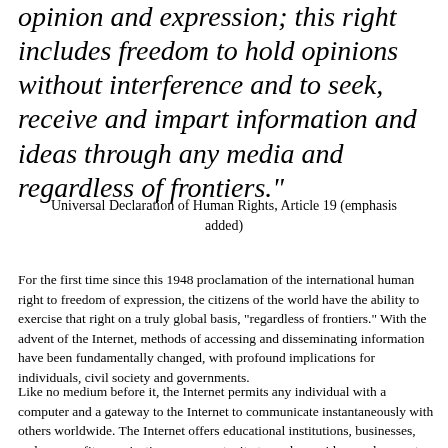opinion and expression; this right includes freedom to hold opinions without interference and to seek, receive and impart information and ideas through any media and regardless of frontiers."
Universal Declaration of Human Rights, Article 19 (emphasis added)
For the first time since this 1948 proclamation of the international human right to freedom of expression, the citizens of the world have the ability to exercise that right on a truly global basis, "regardless of frontiers." With the advent of the Internet, methods of accessing and disseminating information have been fundamentally changed, with profound implications for individuals, civil society and governments.
Like no medium before it, the Internet permits any individual with a computer and a gateway to the Internet to communicate instantaneously with others worldwide. The Internet offers educational institutions, businesses, and non-profit organizations an opportunity to exchange ideas and promote scientific, cultural, and economic interests. Traditional forms of media access to the